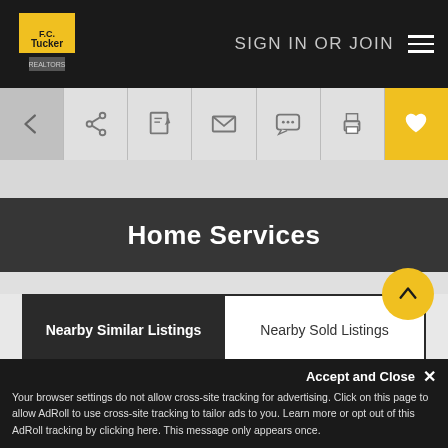F.C. Tucker — SIGN IN OR JOIN
[Figure (screenshot): Icon toolbar with back arrow, share, edit, email, chat, print, and heart (favorite) buttons]
Home Services
Nearby Similar Listings | Nearby Sold Listings
PENDING
Accept and Close ✕
Your browser settings do not allow cross-site tracking for advertising. Click on this page to allow AdRoll to use cross-site tracking to tailor ads to you. Learn more or opt out of this AdRoll tracking by clicking here. This message only appears once.